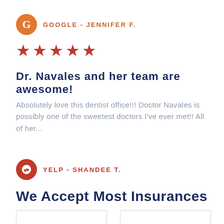GOOGLE - JENNIFER F.
[Figure (other): Five red star rating icons]
Dr. Navales and her team are awesome!
Absolutely love this dentist office!!! Doctor Navales is possibly one of the sweetest doctors I've ever met!! All of her...
YELP - SHANDEE T.
We Accept Most Insurances